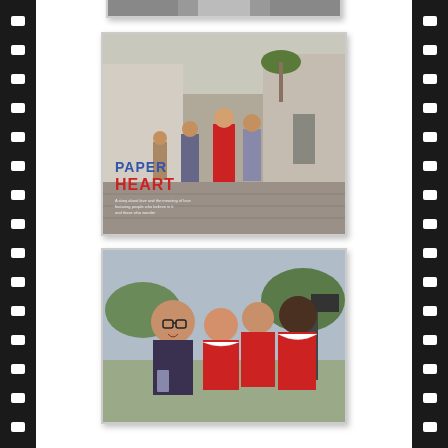[Figure (photo): Movie poster for Paper Heart showing children running on a street, with title text 'PAPER HEART']
[Figure (photo): Photo of a woman with glasses laughing alongside three children in red uniforms outdoors]
Paper Heart's main theme is love or the notion of love. Charlyne Yi, (born June 4, 2009) is an American...